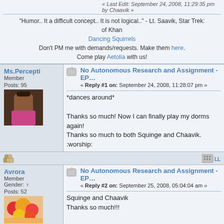« Last Edit: September 24, 2008, 11:29:35 pm by Chaavik »
"Humor.. It a difficult concept.. It is not logical.." - Lt. Saavik, Star Trek: of Khan
Dancing Squirrels
Don't PM me with demands/requests. Make them here.
Come play Aetolia with us!
Ms.Percepti
Member
Posts: 95
No Autonomous Research and Assignment - EP...
« Reply #1 on: September 24, 2008, 11:28:07 pm »
*dances around*

Thanks so much! Now I can finally play my dorms again!
Thanks so much to both Squinge and Chaavik. :worship:
Avrora
Member
Gender:
Posts: 52
No Autonomous Research and Assignment - EP...
« Reply #2 on: September 25, 2008, 05:04:04 am »
Squinge and Chaavik
Thanks so much!!!